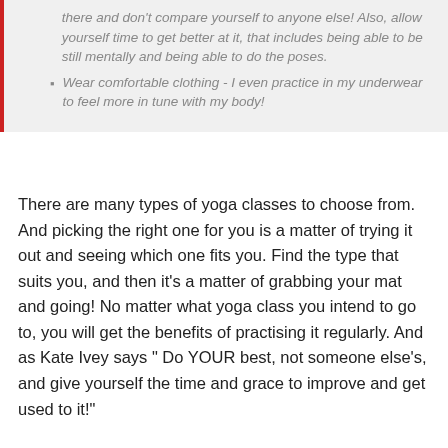there and don't compare yourself to anyone else! Also, allow yourself time to get better at it, that includes being able to be still mentally and being able to do the poses.
Wear comfortable clothing - I even practice in my underwear to feel more in tune with my body!
There are many types of yoga classes to choose from. And picking the right one for you is a matter of trying it out and seeing which one fits you. Find the type that suits you, and then it's a matter of grabbing your mat and going! No matter what yoga class you intend to go to, you will get the benefits of practising it regularly. And as Kate Ivey says " Do YOUR best, not someone else's, and give yourself the time and grace to improve and get used to it!"